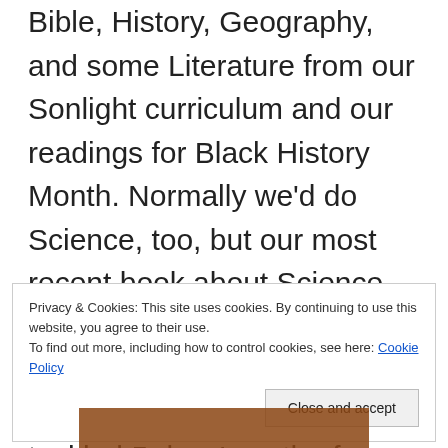Bible, History, Geography, and some Literature from our Sonlight curriculum and our readings for Black History Month. Normally we'd do Science, too, but our most recent book about Science had been a Magic School Bus book, and they'd been so excited about it that we'd tackled 5 days' worth of reading and work all in one day! We also often do a lesson from our Language Arts book and/or Spelling, but Thursdays and Fridays get a bit tight for us with our afternoon commitments, and we were starting a bit late, so I opted not to try to get those in. We still
Privacy & Cookies: This site uses cookies. By continuing to use this website, you agree to their use.
To find out more, including how to control cookies, see here: Cookie Policy
Close and accept
[Figure (photo): Bottom strip showing partial photo, brownish tones visible at bottom of page]